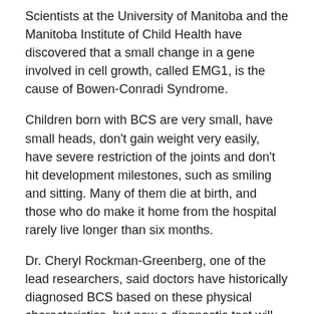Scientists at the University of Manitoba and the Manitoba Institute of Child Health have discovered that a small change in a gene involved in cell growth, called EMG1, is the cause of Bowen-Conradi Syndrome.
Children born with BCS are very small, have small heads, don't gain weight very easily, have severe restriction of the joints and don't hit development milestones, such as smiling and sitting. Many of them die at birth, and those who do make it home from the hospital rarely live longer than six months.
Dr. Cheryl Rockman-Greenberg, one of the lead researchers, said doctors have historically diagnosed BCS based on these physical characteristics, but now a diagnostic test will eliminate any doubt. She was quick to note the findings, which discovered a protein decrease in the gene, do not mean that a cure, or even treatment, is imminent.
“Our next step is to find out how the protein decrease ultimately leads to the signs and symptoms we see. Then we can develop strategies to try to increase the protein. We want to increase production of the protein so it will allow these children to grow and develop normally,” she said, noting the genetic findings will likely help identify similar abnormalities in